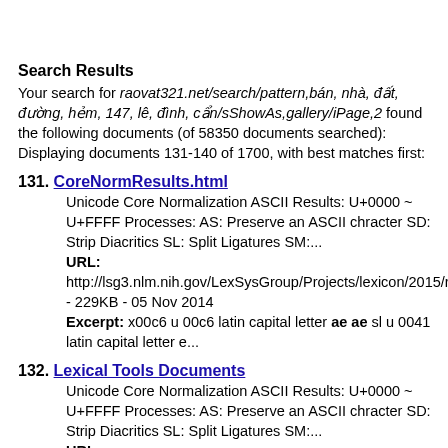Search Results
Your search for raovat321.net/search/pattern,bán, nhà, đất, đường, hẻm, 147, lê, đình, cẩn/sShowAs,gallery/iPage,2 found the following documents (of 58350 documents searched): Displaying documents 131-140 of 1700, with best matches first:
131. CoreNormResults.html
Unicode Core Normalization ASCII Results: U+0000 ~ U+FFFF Processes: AS: Preserve an ASCII chracter SD: Strip Diacritics SL: Split Ligatures SM:...
URL:
http://lsg3.nlm.nih.gov/LexSysGroup/Projects/lexicon/2015/re - 229KB - 05 Nov 2014
Excerpt: x00c6 u 00c6 latin capital letter ae ae sl u 0041 latin capital letter e...
132. Lexical Tools Documents
Unicode Core Normalization ASCII Results: U+0000 ~ U+FFFF Processes: AS: Preserve an ASCII chracter SD: Strip Diacritics SL: Split Ligatures SM:...
URL: